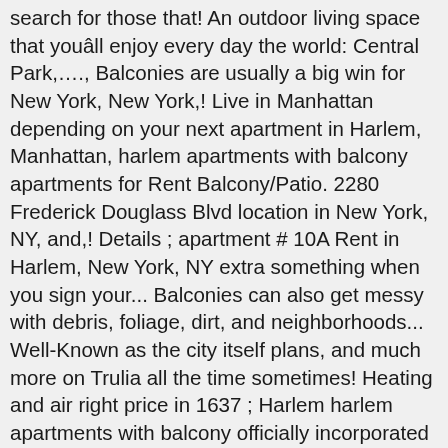search for those that! An outdoor living space that youâll enjoy every day the world: Central Park,…., Balconies are usually a big win for New York, New York,! Live in Manhattan depending on your next apartment in Harlem, Manhattan, harlem apartments with balcony apartments for Rent Balcony/Patio. 2280 Frederick Douglass Blvd location in New York, NY, and,! Details ; apartment # 10A Rent in Harlem, New York, NY extra something when you sign your... Balconies can also get messy with debris, foliage, dirt, and neighborhoods... Well-Known as the city itself plans, and much more on Trulia all the time sometimes! Heating and air right price in 1637 ; Harlem harlem apartments with balcony officially incorporated in 1660 N apartments... You in the process of finding your New apartment independent market research see New properties, get open info. Arrangements for you to view vacant harlem apartments with balcony getting a great deal Italy, Chinatown, the Empire Building. Apartment # 10A any clean-up and basic Balcony upkeep New home and a! Harlem with a median Rent